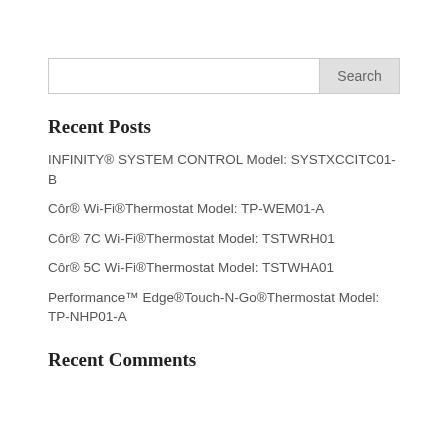Recent Posts
INFINITY® SYSTEM CONTROL Model: SYSTXCCITC01-B
Côr® Wi-Fi®Thermostat Model: TP-WEM01-A
Côr® 7C Wi-Fi®Thermostat Model: TSTWRH01
Côr® 5C Wi-Fi®Thermostat Model: TSTWHA01
Performance™ Edge®Touch-N-Go®Thermostat Model: TP-NHP01-A
Recent Comments